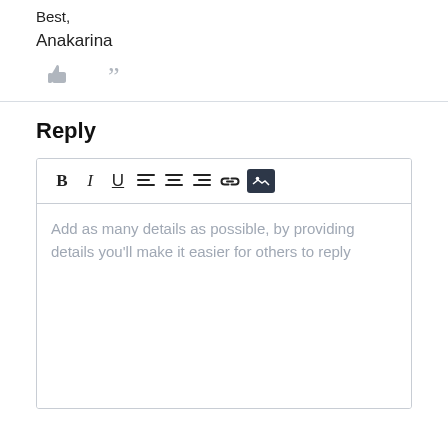Best,
Anakarina
[Figure (screenshot): Like (thumbs up) and quote action icons in gray]
Reply
[Figure (screenshot): Rich text editor toolbar with Bold, Italic, Underline, align left, align center, align right, link, and image buttons]
Add as many details as possible, by providing details you'll make it easier for others to reply